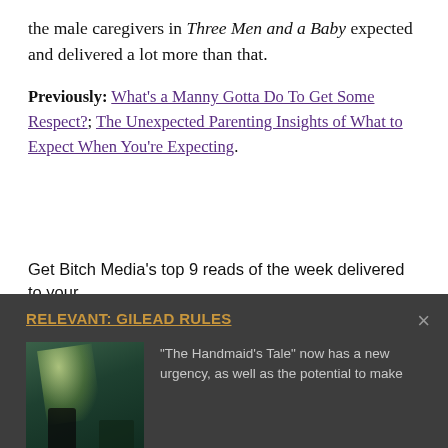the male caregivers in Three Men and a Baby expected and delivered a lot more than that.
Previously: What's a Manny Gotta Do To Get Some Respect?; The Unexpected Parenting Insights of What to Expect When You're Expecting.
Get Bitch Media's top 9 reads of the week delivered to your
RELEVANT: GILEAD RULES
[Figure (photo): Dark moody image showing a figure near a green-lit room or window]
"The Handmaid's Tale" now has a new urgency, as well as the potential to make powerful, more-timely-than-ever statements about reproductive rights, theocratic rule, environmental devastation, and misogyny